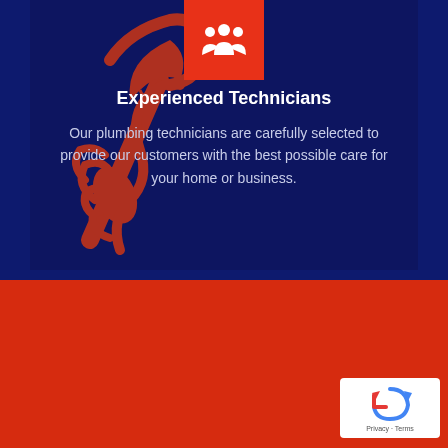[Figure (illustration): Dark navy card with a red outline illustration of a hand gripping a pipe wrench, and an orange square icon at top center showing a group/people icon in white.]
Experienced Technicians
Our plumbing technicians are carefully selected to provide our customers with the best possible care for your home or business.
[Figure (other): Red background section in the lower portion of the page.]
[Figure (other): reCAPTCHA badge in the bottom right corner showing the reCAPTCHA logo and 'Privacy - Terms' text.]